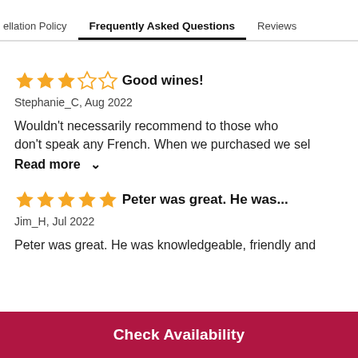ellation Policy   Frequently Asked Questions   Reviews
★★★☆☆ Good wines!
Stephanie_C, Aug 2022
Wouldn't necessarily recommend to those who don't speak any French. When we purchased we sel
Read more ∨
★★★★★ Peter was great. He was...
Jim_H, Jul 2022
Peter was great. He was knowledgeable, friendly and
Check Availability